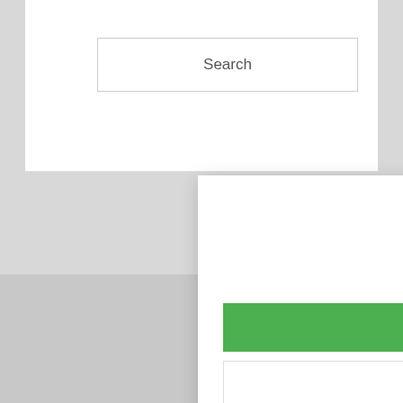[Figure (screenshot): Background webpage with a search input field showing placeholder text 'Search']
Search
We use coo our websit
Sp
[Figure (screenshot): Modal popup dialog for newsletter signup]
Love New York City?
Get New York Latin Culture Magazine in your Email weekly
YES, SIGN ME UP
NO THANKS